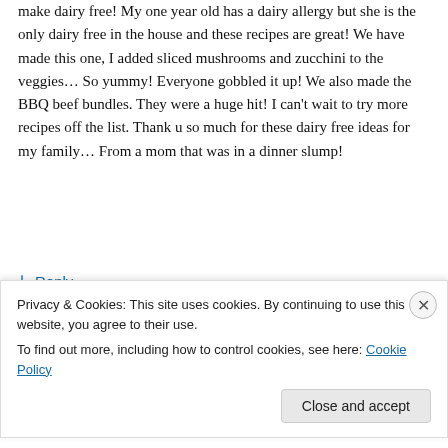make dairy free! My one year old has a dairy allergy but she is the only dairy free in the house and these recipes are great! We have made this one, I added sliced mushrooms and zucchini to the veggies… So yummy! Everyone gobbled it up! We also made the BBQ beef bundles. They were a huge hit! I can't wait to try more recipes off the list. Thank u so much for these dairy free ideas for my family… From a mom that was in a dinner slump!
↳ Reply
Privacy & Cookies: This site uses cookies. By continuing to use this website, you agree to their use. To find out more, including how to control cookies, see here: Cookie Policy
Close and accept